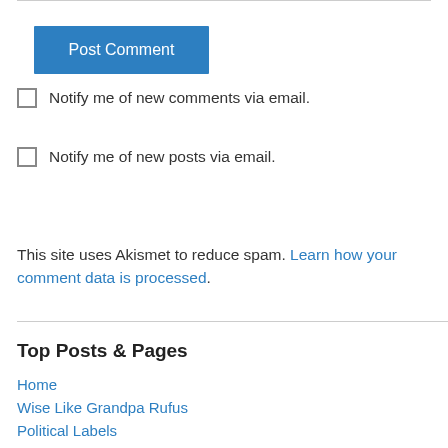Post Comment
Notify me of new comments via email.
Notify me of new posts via email.
This site uses Akismet to reduce spam. Learn how your comment data is processed.
Top Posts & Pages
Home
Wise Like Grandpa Rufus
Political Labels
Guest Contributors